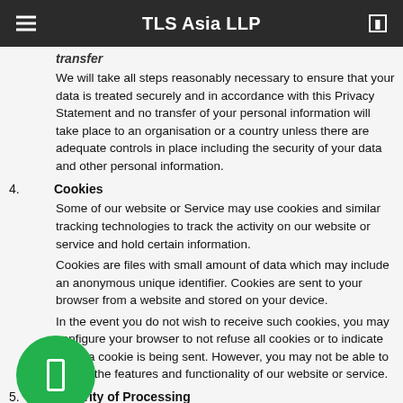TLS Asia LLP
transfer
We will take all steps reasonably necessary to ensure that your data is treated securely and in accordance with this Privacy Statement and no transfer of your personal information will take place to an organisation or a country unless there are adequate controls in place including the security of your data and other personal information.
4. Cookies
Some of our website or Service may use cookies and similar tracking technologies to track the activity on our website or service and hold certain information.
Cookies are files with small amount of data which may include an anonymous unique identifier. Cookies are sent to your browser from a website and stored on your device.
In the event you do not wish to receive such cookies, you may configure your browser to not refuse all cookies or to indicate when a cookie is being sent. However, you may not be able to use all the features and functionality of our website or service.
5. Security of Processing